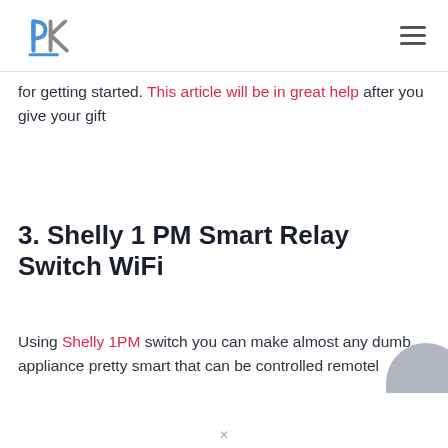PK logo and hamburger menu
for getting started. This article will be in great help after you give your gift
3. Shelly 1 PM Smart Relay Switch WiFi
Using Shelly 1PM switch you can make almost any dumb appliance pretty smart that can be controlled remotel...